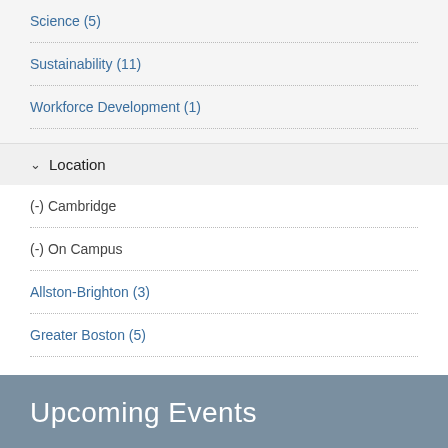Science (5)
Sustainability (11)
Workforce Development (1)
Location
(-) Cambridge
(-) On Campus
Allston-Brighton (3)
Greater Boston (5)
Upcoming Events
Cochineal: How Mexico Made the World See Red